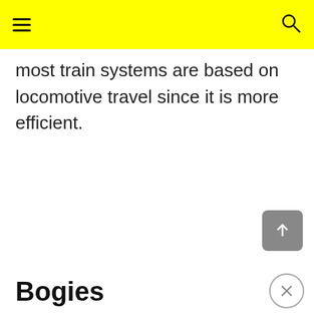most train systems are based on locomotive travel since it is more efficient.
Bogies